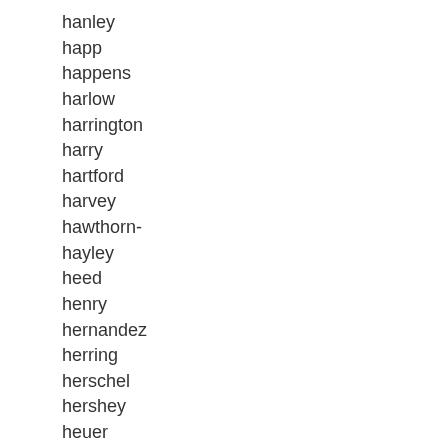hanley
happ
happens
harlow
harrington
harry
hartford
harvey
hawthorn-
hayley
heed
henry
hernandez
herring
herschel
hershey
heuer
hines
hockey
holder